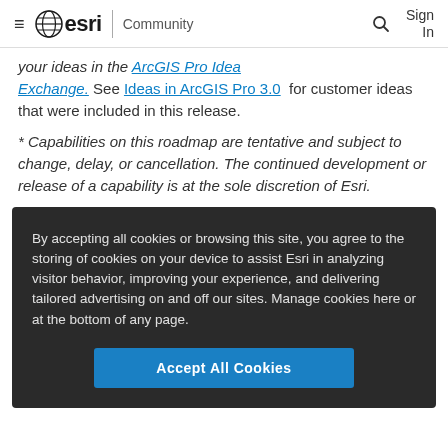≡ esri | Community   🔍   Sign In
your ideas in the ArcGIS Pro Idea Exchange. See Ideas in ArcGIS Pro 3.0 for customer ideas that were included in this release.
* Capabilities on this roadmap are tentative and subject to change, delay, or cancellation. The continued development or release of a capability is at the sole discretion of Esri.
By accepting all cookies or browsing this site, you agree to the storing of cookies on your device to assist Esri in analyzing visitor behavior, improving your experience, and delivering tailored advertising on and off our sites. Manage cookies here or at the bottom of any page.
Accept All Cookies